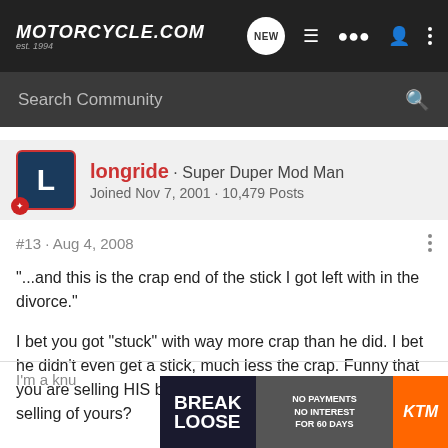MOTORCYCLE.COM est. 1994
Search Community
longride · Super Duper Mod Man
Joined Nov 7, 2001 · 10,479 Posts
#13 · Aug 4, 2008
"...and this is the crap end of the stick I got left with in the divorce."
I bet you got "stuck" with way more crap than he did. I bet he didn't even get a stick, much less the crap. Funny that you are selling HIS bike and crying about it. What is he selling of yours?
I'm a knu
[Figure (screenshot): KTM advertisement banner: BREAK LOOSE / NO PAYMENTS NO INTEREST FOR 60 DAYS / KTM logo]